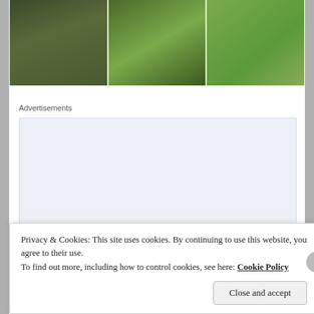[Figure (photo): Three garden/nature photos in a horizontal row at the top of the page]
Advertisements
[Figure (infographic): WordPress app advertisement with text 'Build a writing habit. Post on the go.' and a 'GET THE APP' call-to-action button with WordPress logo icon]
Privacy & Cookies: This site uses cookies. By continuing to use this website, you agree to their use.
To find out more, including how to control cookies, see here: Cookie Policy
Close and accept